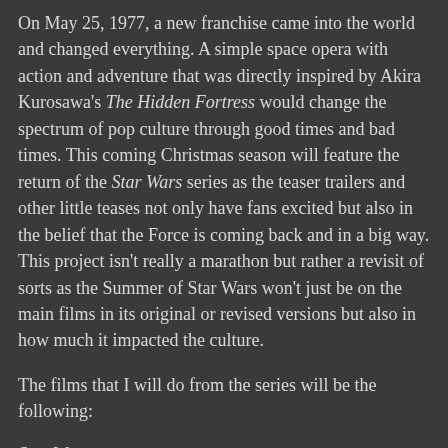On May 25, 1977, a new franchise came into the world and changed everything. A simple space opera with action and adventure that was directly inspired by Akira Kurosawa's The Hidden Fortress would change the spectrum of pop culture through good times and bad times. This coming Christmas season will feature the return of the Star Wars series as the teaser trailers and other little teases not only have fans excited but also in the belief that the Force is coming back and in a big way. This project isn't really a marathon but rather a revisit of sorts as the Summer of Star Wars won't just be on the main films in its original or revised versions but also in how much it impacted the culture.
The films that I will do from the series will be the following:
Star Wars
The Empire Strikes Back
The Return of the Jedi
The Phantom Menace